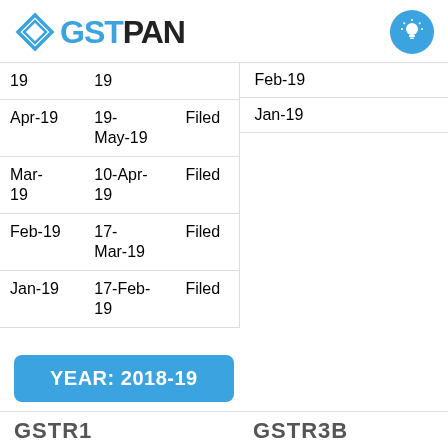[Figure (logo): GSTPAN logo with diamond icon on left and lightbulb circle icon on right]
| 19 | 19 |  |
| Apr-19 | 19-May-19 | Filed |
| Mar-19 | 10-Apr-19 | Filed |
| Feb-19 | 17-Mar-19 | Filed |
| Jan-19 | 17-Feb-19 | Filed |
| Feb-19 |
| Jan-19 |
YEAR: 2018-19
GSTR1
GSTR3B